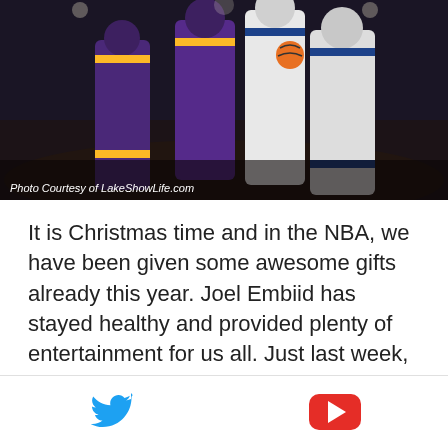[Figure (photo): Basketball game photo showing Lakers players in purple/gold uniforms and Warriors player in white uniform. Action shot during an NBA game.]
Photo Courtesy of LakeShowLife.com
It is Christmas time and in the NBA, we have been given some awesome gifts already this year. Joel Embiid has stayed healthy and provided plenty of entertainment for us all. Just last week, he trolled Karl-Anthony Towns on Instagram and got into multiple verbal spats with Carmelo Anthony in an awesome triple overtime game. What's even better is that he inspired Russell Westbrook to troll the troll at the end of the game. The standings
[Figure (logo): Twitter bird icon (blue) and YouTube play button icon (red) in a bottom navigation bar]